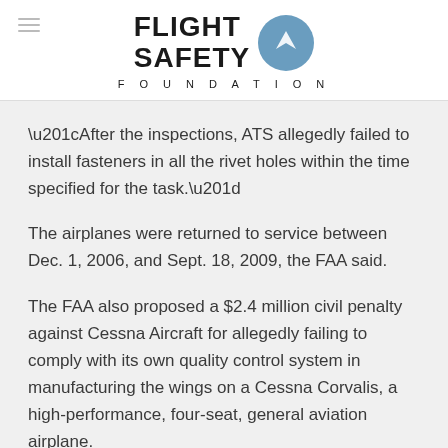Flight Safety Foundation
“After the inspections, ATS allegedly failed to install fasteners in all the rivet holes within the time specified for the task.”
The airplanes were returned to service between Dec. 1, 2006, and Sept. 18, 2009, the FAA said.
The FAA also proposed a $2.4 million civil penalty against Cessna Aircraft for allegedly failing to comply with its own quality control system in manufacturing the wings on a Cessna Corvalis, a high-performance, four-seat, general aviation airplane.